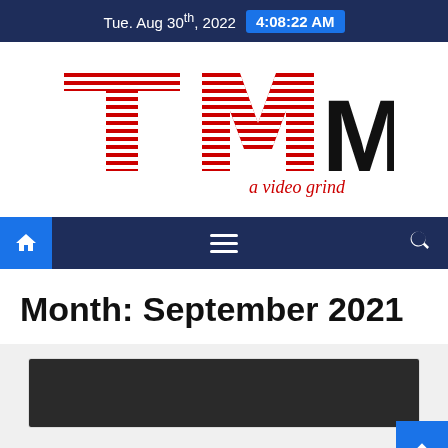Tue. Aug 30th, 2022  4:08:22 AM
[Figure (logo): TV MIX logo — large stylized red horizontal-striped TV letters and black MIX, with red italic tagline 'a video grind']
[Figure (other): Navigation bar with home icon button, hamburger menu icon, and search icon on dark navy background]
Month: September 2021
[Figure (screenshot): Article card with dark thumbnail image partially visible at bottom of page]